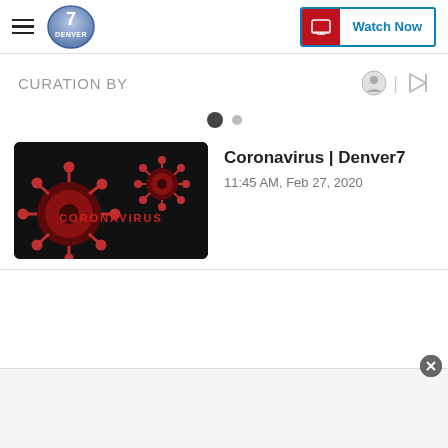Denver7 | Watch Now
CURATION BY
[Figure (screenshot): Coronavirus thumbnail image with dark background showing a red coronavirus cell and text CORONAVIRUS]
Coronavirus | Denver7
11:45 AM, Feb 27, 2020
[Figure (other): Advertisement strip at bottom of page with close button]